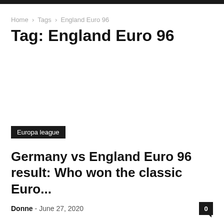Home › Tags › England Euro 96
Tag: England Euro 96
Europa league
Germany vs England Euro 96 result: Who won the classic Euro...
Donne - June 27, 2020  0